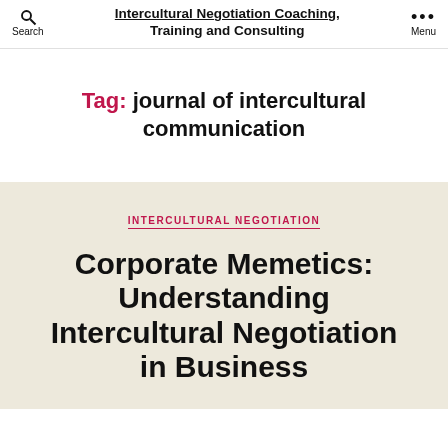Intercultural Negotiation Coaching, Training and Consulting
Tag: journal of intercultural communication
INTERCULTURAL NEGOTIATION
Corporate Memetics: Understanding Intercultural Negotiation in Business